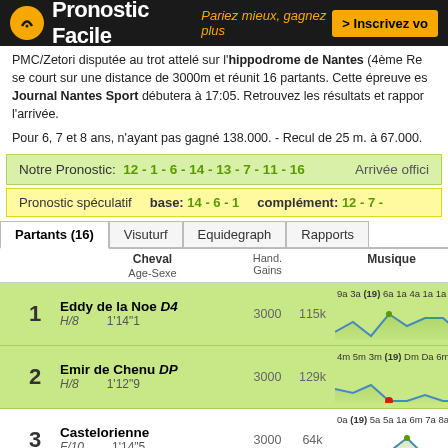Pronostic Facile — Pariez mieux, gagnez plus > Inscrivez vo...
PMC/Zeton disputée au trot attelé sur l'hippodrome de Nantes (4ème Re... se court sur une distance de 3000m et réunit 16 partants. Cette épreuve es... Journal Nantes Sport débutera à 17:05. Retrouvez les résultats et rappon... l'arrivée.
Pour 6, 7 et 8 ans, n'ayant pas gagné 138.000. - Recul de 25 m. à 67.000.
Notre Pronostic: 12 - 1 - 6 - 14 - 13 - 7 - 11 - 16   Arrivée offici...
Pronostic spéculatif   base: 14 - 6 - 1   complément: 12 - 7 -...
| # | Cheval / Age-Sexe | Hand. | Gains | Musique |
| --- | --- | --- | --- | --- |
| 1 | Eddy de la Noe D4 H/8 1'14"1 | 3000 | 115k | 9a 3a (19) 6a 1a 4a 1a 1a 0a (19) 9a |
| 2 | Emir de Chenu DP H/8 1'12"9 | 3000 | 129k | 4m 5m 3m (19) Dm Da 6m Dm Dm 2m 1m |
| 3 | Castelorienne F/10 1'14"5 | 3000 | 64k | 0a (19) 5a 5a 1a 6m 7a 8a 5a 4a Da |